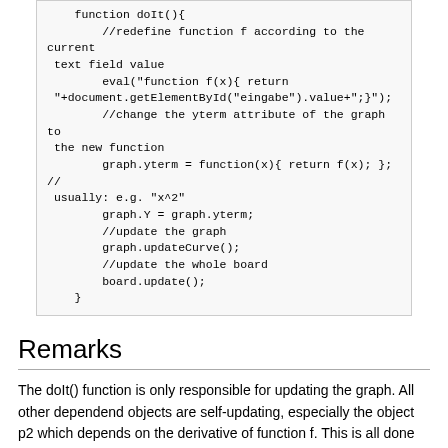function doIt(){
    //redefine function f according to the current text field value
    eval("function f(x){ return "+document.getElementById("eingabe").value+";");
    //change the yterm attribute of the graph to the new function
    graph.yterm = function(x){ return f(x); };  // usually: e.g. "x^2"
    graph.Y = graph.yterm;
    //update the graph
    graph.updateCurve();
    //update the whole board
    board.update();
}
Remarks
The doIt() function is only responsible for updating the graph. All other dependend objects are self-updating, especially the object p2 which depends on the derivative of function f. This is all done by aononymous functions of JavaScript.
Category:  Pages with syntax highlighting errors
Page actions
Page